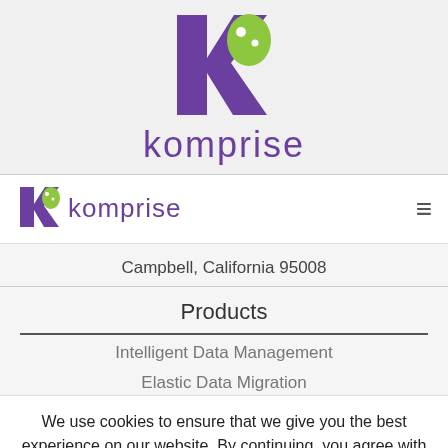[Figure (logo): Komprise logo mark (purple K with green dots) large version at top of page]
komprise
[Figure (logo): Komprise logo mark (small, inline) in navigation bar]
Campbell, California 95008
Products
Intelligent Data Management
Elastic Data Migration
We use cookies to ensure that we give you the best experience on our website. By continuing, you agree with our use of cookies in accordance with our Cookie Policy. ACCEPT